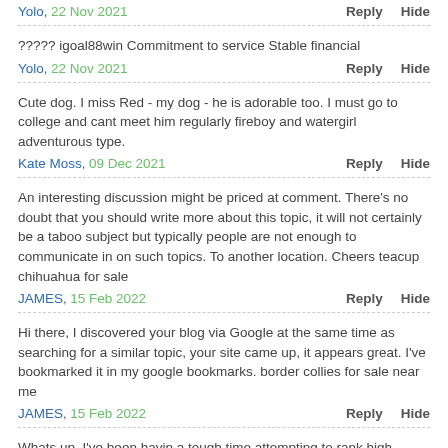Yolo, 22 Nov 2021 | Reply | Hide
????? igoal88win Commitment to service Stable financial
Yolo, 22 Nov 2021 | Reply | Hide
Cute dog. I miss Red - my dog - he is adorable too. I must go to college and cant meet him regularly fireboy and watergirl adventurous type.
Kate Moss, 09 Dec 2021 | Reply | Hide
An interesting discussion might be priced at comment. There's no doubt that you should write more about this topic, it will not certainly be a taboo subject but typically people are not enough to communicate in on such topics. To another location. Cheers teacup chihuahua for sale
JAMES, 15 Feb 2022 | Reply | Hide
Hi there, I discovered your blog via Google at the same time as searching for a similar topic, your site came up, it appears great. I've bookmarked it in my google bookmarks. border collies for sale near me
JAMES, 15 Feb 2022 | Reply | Hide
Whats up, I've been havin a tough time attempting to rank high